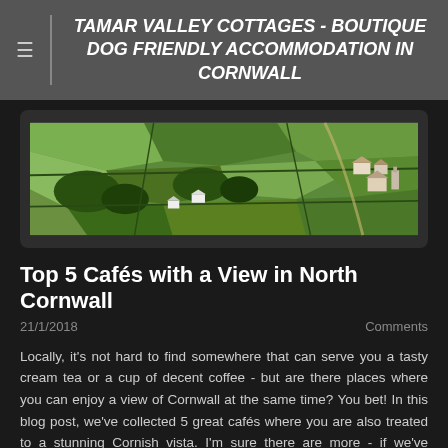TAMAR VALLEY COTTAGES - BOUTIQUE DOG FRIENDLY ACCOMMODATION IN CORNWALL
[Figure (photo): Aerial photograph of Cornish countryside with green fields, hedgerows, trees, and farm buildings.]
Top 5 Cafés with a View in North Cornwall
21/1/2018    Comments
Locally, it's not hard to find somewhere that can serve you a tasty cream tea or a cup of decent coffee - but are there places where you can enjoy a view of Cornwall at the same time?  You bet!  In this blog post, we've collected 5 great cafés where you are also treated to a stunning Cornish vista.  I'm sure there are more - if we've missed one, let us know in the comments below!